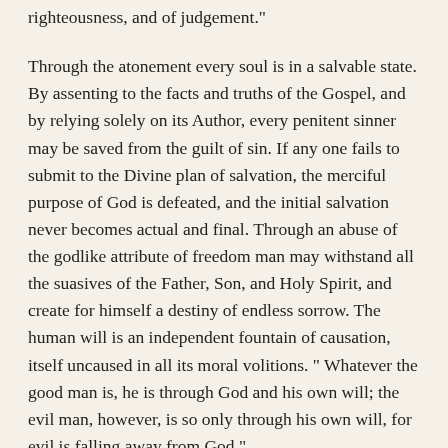righteousness, and of judgement."
Through the atonement every soul is in a salvable state. By assenting to the facts and truths of the Gospel, and by relying solely on its Author, every penitent sinner may be saved from the guilt of sin. If any one fails to submit to the Divine plan of salvation, the merciful purpose of God is defeated, and the initial salvation never becomes actual and final. Through an abuse of the godlike attribute of freedom man may withstand all the suasives of the Father, Son, and Holy Spirit, and create for himself a destiny of endless sorrow. The human will is an independent fountain of causation, itself uncaused in all its moral volitions. " Whatever the good man is, he is through God and his own will; the evil man, however, is so only through his own will, for evil is falling away from God."
Hence the following theological axiom of Fletcher: "All damnation flows from man, all salvation flows from God." He saves all that he can without a violation of the sacred prerogative of freedom. "Turn ye, turn ye — why will ye die?"
Thus love is revealed as dominant over this world; not a fondling